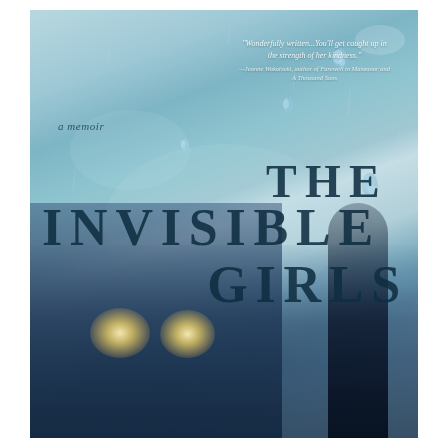[Figure (illustration): Book cover for 'The Invisible Girls: A Memoir'. Features a moody, blue-tinted rainy window scene with a blurred bus/vehicle with headlights visible at bottom and a dark figure on the right. Text overlaid includes a blurb at top right, subtitle 'a memoir' at upper left, and the large title 'THE INVISIBLE GIRLS' in dark serif font across the center of the cover.]